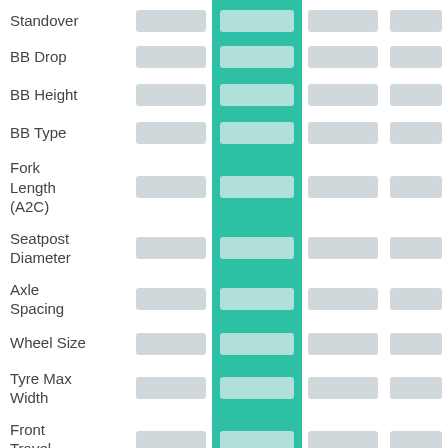| Attribute | Col1 | Col2 (highlighted) | Col3 | Col4 |
| --- | --- | --- | --- | --- |
| Standover |  |  |  |  |
| BB Drop |  |  |  |  |
| BB Height |  |  |  |  |
| BB Type |  |  |  |  |
| Fork Length (A2C) |  |  |  |  |
| Seatpost Diameter |  |  |  |  |
| Axle Spacing |  |  |  |  |
| Wheel Size |  |  |  |  |
| Tyre Max Width |  |  |  |  |
| Front Travel |  |  |  |